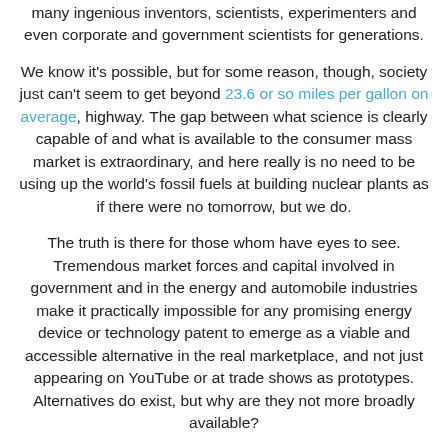many ingenious inventors, scientists, experimenters and even corporate and government scientists for generations.
We know it's possible, but for some reason, though, society just can't seem to get beyond 23.6 or so miles per gallon on average, highway. The gap between what science is clearly capable of and what is available to the consumer mass market is extraordinary, and here really is no need to be using up the world's fossil fuels at building nuclear plants as if there were no tomorrow, but we do.
The truth is there for those whom have eyes to see. Tremendous market forces and capital involved in government and in the energy and automobile industries make it practically impossible for any promising energy device or technology patent to emerge as a viable and accessible alternative in the real marketplace, and not just appearing on YouTube or at trade shows as prototypes. Alternatives do exist, but why are they not more broadly available?
In addition to the more famous cases such as Wilhelm